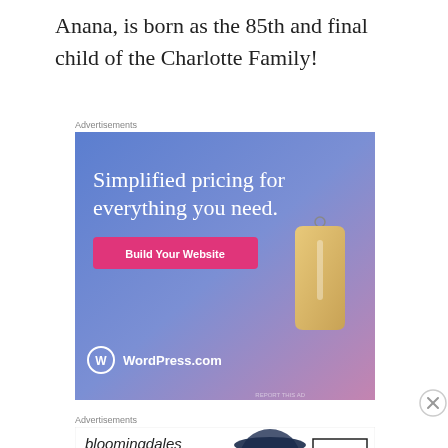Anana, is born as the 85th and final child of the Charlotte Family!
Advertisements
[Figure (other): WordPress.com advertisement with blue-purple gradient background, large white text 'Simplified pricing for everything you need.', a pink 'Build Your Website' button, a tan price tag illustration, and WordPress.com logo at bottom left.]
Advertisements
[Figure (other): Bloomingdale's advertisement showing 'bloomingdales View Today's Top Deals!' with a woman in a wide-brim hat and a 'SHOP NOW >' button.]